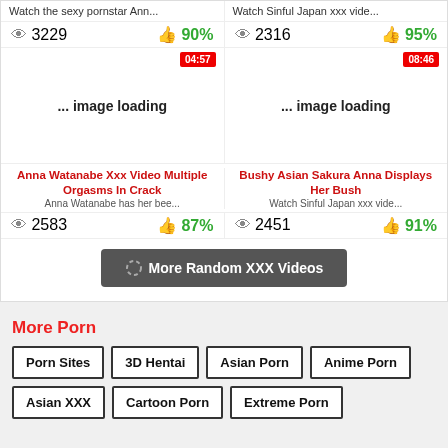Watch the sexy pornstar Ann... | Watch Sinful Japan xxx vide...
3229 views | 90% | 2316 views | 95%
[Figure (screenshot): Two video thumbnails showing '... image loading' placeholders with duration badges 04:57 and 08:46]
Anna Watanabe Xxx Video Multiple Orgasms In Crack
Anna Watanabe has her bee...
Bushy Asian Sakura Anna Displays Her Bush
Watch Sinful Japan xxx vide...
2583 views | 87% | 2451 views | 91%
More Random XXX Videos
More Porn
Porn Sites
3D Hentai
Asian Porn
Anime Porn
Asian XXX
Cartoon Porn
Extreme Porn